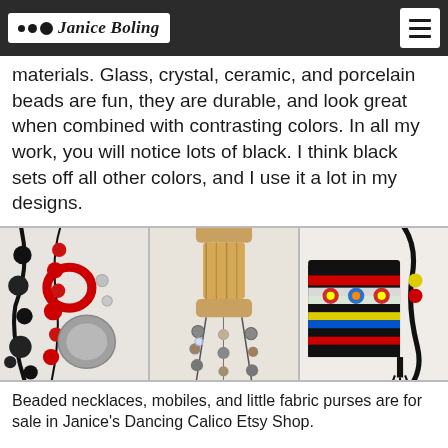Janice Boling
materials. Glass, crystal, ceramic, and porcelain beads are fun, they are durable, and look great when combined with contrasting colors. In all my work, you will notice lots of black. I think black sets off all other colors, and I use it a lot in my designs.
[Figure (photo): Three photos side by side showing beaded necklaces and a fabric purse: left photo shows black and red beaded necklaces with large grey disk bead; center photo shows beaded mobiles hanging from a wooden spool; right photo shows a colorful striped fabric purse with decorative embroidery and beaded cord.]
Beaded necklaces, mobiles, and little fabric purses are for sale in Janice's Dancing Calico Etsy Shop.